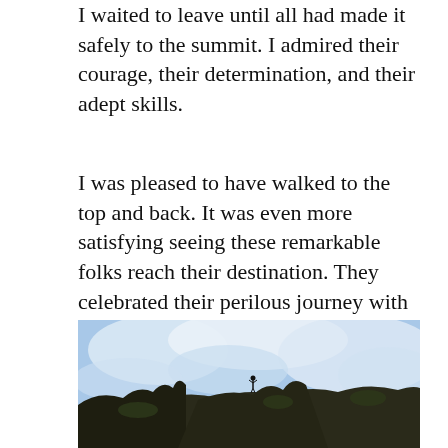I waited to leave until all had made it safely to the summit. I admired their courage, their determination, and their adept skills.
I was pleased to have walked to the top and back. It was even more satisfying seeing these remarkable folks reach their destination. They celebrated their perilous journey with fist pumps and shouts of joy that echoed far across the valley into my soul.
[Figure (photo): A mountain summit scene with a lone figure standing on rocky peak against a dramatic blue and white cloudy sky, with dark rocky terrain and some vegetation in the foreground.]